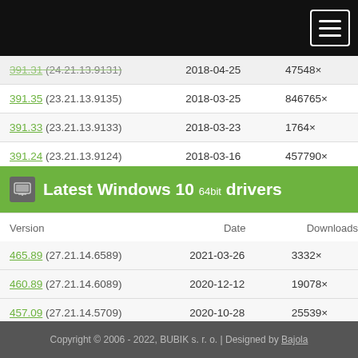| Version | Date | Downloads |
| --- | --- | --- |
| 391.31 (24.21.13.9131) | 2018-04-25 | 47548× |
| 391.35 (23.21.13.9135) | 2018-03-25 | 846765× |
| 391.33 (23.21.13.9133) | 2018-03-23 | 1764× |
| 391.24 (23.21.13.9124) | 2018-03-16 | 457790× |
| 391.03 (23.21.13.9103) | 2018-02-28 | 22404× |
Latest Windows 10 64bit drivers
| Version | Date | Downloads |
| --- | --- | --- |
| 465.89 (27.21.14.6589) | 2021-03-26 | 3332× |
| 460.89 (27.21.14.6089) | 2020-12-12 | 19078× |
| 457.09 (27.21.14.5709) | 2020-10-28 | 25539× |
| 452.06 (27.21.14.5206) | 2020-08-14 | 5096× |
| 451.48 (26.21.14.4292) | 2020-06-23 | 13764× |
Copyright © 2006 - 2022, BUBIK s. r. o. | Designed by Bajola